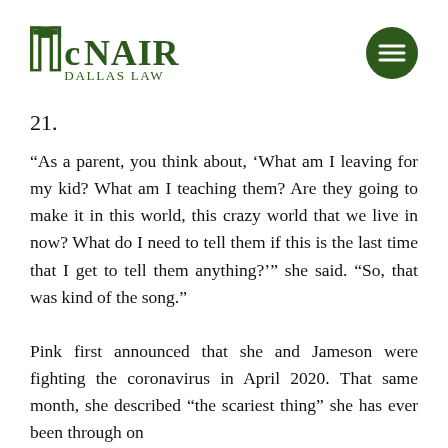[Figure (logo): McNair Dallas Law firm logo with green stylized M and text, plus hamburger menu icon in dark green circle]
21.
“As a parent, you think about, ‘What am I leaving for my kid? What am I teaching them? Are they going to make it in this world, this crazy world that we live in now? What do I need to tell them if this is the last time that I get to tell them anything?’” she said. “So, that was kind of the song.”
Pink first announced that she and Jameson were fighting the coronavirus in April 2020. That same month, she described “the scariest thing” she has ever been through on